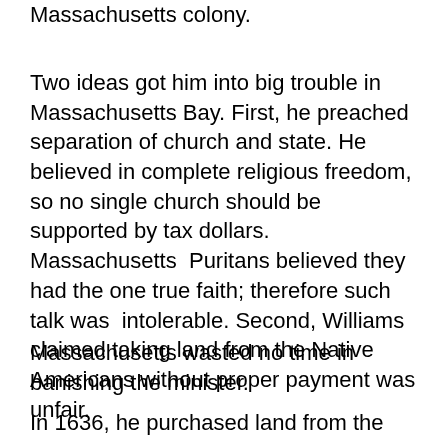Massachusetts colony.
Two ideas got him into big trouble in Massachusetts Bay. First, he preached separation of church and state. He believed in complete religious freedom,  so no single church should be supported by tax dollars. Massachusetts  Puritans believed they had the one true faith; therefore such talk was  intolerable. Second, Williams claimed taking land from the Native  Americans without proper payment was unfair.
Massachusetts wasted no time in banishing the minister.
In 1636, he purchased land from the